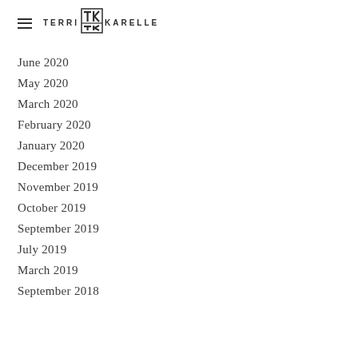TERRI TK KARELLE
June 2020
May 2020
March 2020
February 2020
January 2020
December 2019
November 2019
October 2019
September 2019
July 2019
March 2019
September 2018